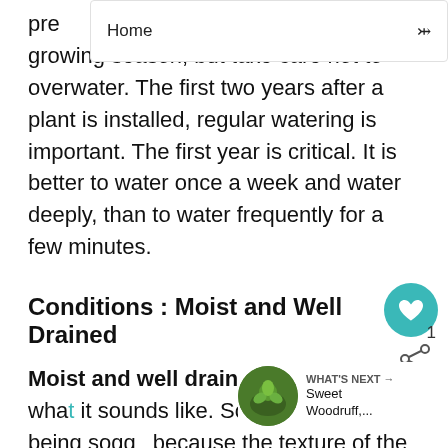Home
pre growing season, but take care not to overwater. The first two years after a plant is installed, regular watering is important. The first year is critical. It is better to water once a week and water deeply, than to water frequently for a few minutes.
Conditions : Moist and Well Drained
Moist and well drained means exactly what it sounds like. Soil is moist without being soggy because the texture of the soil allows excess moisture to drain away. Most plants like 1 inch of water per week. Amending your soil with compost will help improve texture and